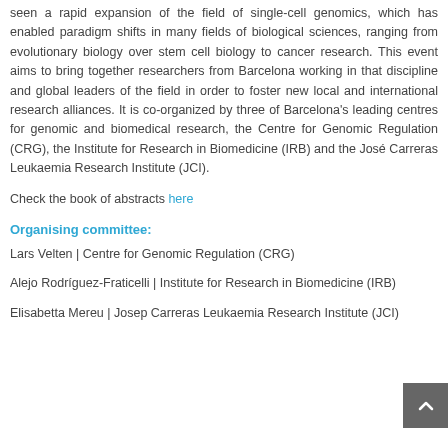seen a rapid expansion of the field of single-cell genomics, which has enabled paradigm shifts in many fields of biological sciences, ranging from evolutionary biology over stem cell biology to cancer research. This event aims to bring together researchers from Barcelona working in that discipline and global leaders of the field in order to foster new local and international research alliances. It is co-organized by three of Barcelona's leading centres for genomic and biomedical research, the Centre for Genomic Regulation (CRG), the Institute for Research in Biomedicine (IRB) and the José Carreras Leukaemia Research Institute (JCI).
Check the book of abstracts here
Organising committee:
Lars Velten | Centre for Genomic Regulation (CRG)
Alejo Rodríguez-Fraticelli | Institute for Research in Biomedicine (IRB)
Elisabetta Mereu | Josep Carreras Leukaemia Research Institute (JCI)